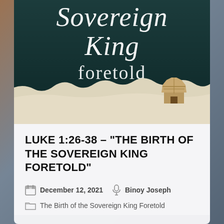[Figure (illustration): Book cover showing 'Sovereign King Foretold' title in elegant script on dark teal background with torn paper edge revealing sandy ground and small illustrated hut in lower right corner]
LUKE 1:26-38 – "THE BIRTH OF THE SOVEREIGN KING FORETOLD"
December 12, 2021   Binoy Joseph
The Birth of the Sovereign King Foretold